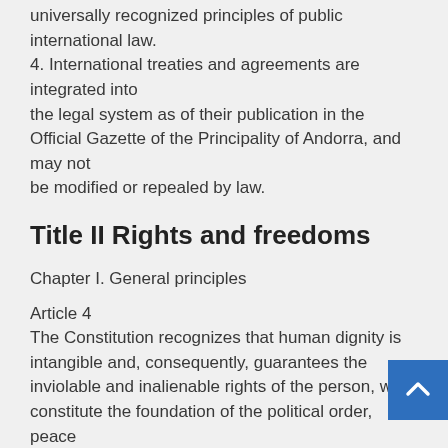universally recognized principles of public international law.
4. International treaties and agreements are integrated into
the legal system as of their publication in the Official Gazette of the Principality of Andorra, and may not
be modified or repealed by law.
Title II Rights and freedoms
Chapter I. General principles
Article 4
The Constitution recognizes that human dignity is intangible and, consequently, guarantees the inviolable and inalienable rights of the person, which constitute the foundation of the political order, peace
social and justice.